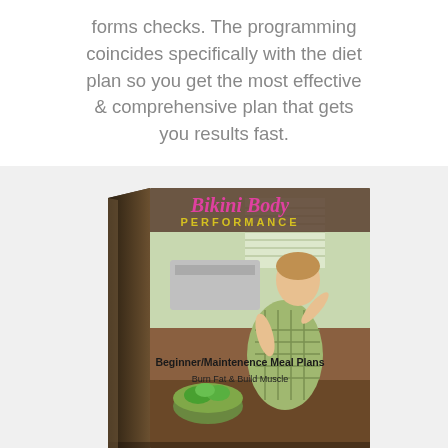forms checks. The programming coincides specifically with the diet plan so you get the most effective & comprehensive plan that gets you results fast.
[Figure (photo): 3D book mockup of 'Bikini Body Performance' — a fitness/diet book with pink cursive title text, yellow 'PERFORMANCE' subtitle, featuring a woman in a green checkered apron cooking in a kitchen with a salad. Text on cover: 'Beginner/Maintenence Meal Plans' and 'Burn Fat & Build Muscle'.]